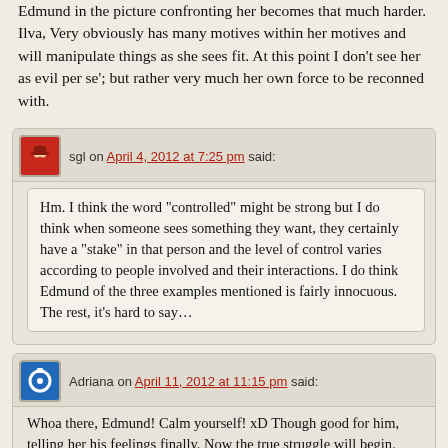Edmund in the picture confronting her becomes that much harder. Ilva, Very obviously has many motives within her motives and will manipulate things as she sees fit. At this point I don't see her as evil per se'; but rather very much her own force to be reconned with.
sgl on April 4, 2012 at 7:25 pm said:
Hm. I think the word "controlled" might be strong but I do think when someone sees something they want, they certainly have a "stake" in that person and the level of control varies according to people involved and their interactions. I do think Edmund of the three examples mentioned is fairly innocuous. The rest, it's hard to say...
Adriana on April 11, 2012 at 11:15 pm said:
Whoa there, Edmund! Calm yourself! xD Though good for him, telling her his feelings finally. Now the true struggle will begin.